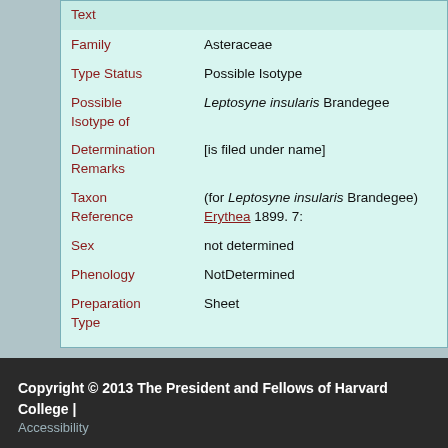| Field | Value |
| --- | --- |
| Text |  |
| Family | Asteraceae |
| Type Status | Possible Isotype |
| Possible Isotype of | Leptosyne insularis Brandegee |
| Determination Remarks | [is filed under name] |
| Taxon Reference | (for Leptosyne insularis Brandegee) Erythea 1899. 7: |
| Sex | not determined |
| Phenology | NotDetermined |
| Preparation Type | Sheet |
| Preparation Method | Pressed |
Copyright © 2013 The President and Fellows of Harvard College | Accessibility